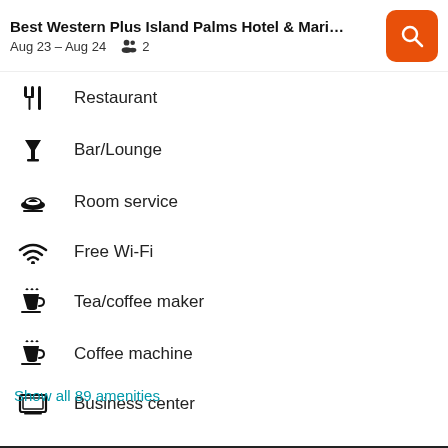Best Western Plus Island Palms Hotel & Mari… Aug 23 – Aug 24  2
Restaurant
Bar/Lounge
Room service
Free Wi-Fi
Tea/coffee maker
Coffee machine
Business center
Show all 89 amenities